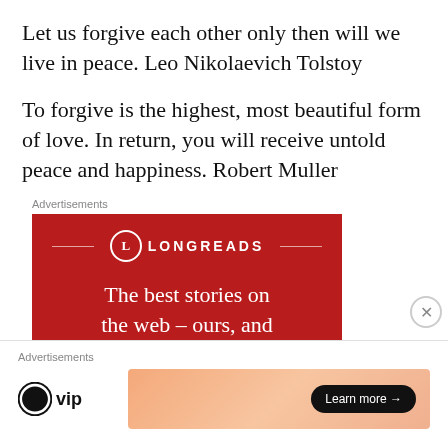Let us forgive each other only then will we live in peace. Leo Nikolaevich Tolstoy
To forgive is the highest, most beautiful form of love. In return, you will receive untold peace and happiness. Robert Muller
[Figure (infographic): Longreads advertisement: red background with Longreads logo and tagline 'The best stories on the web – ours, and everyone else's.']
[Figure (infographic): WordPress VIP advertisement with Learn more button on gradient background]